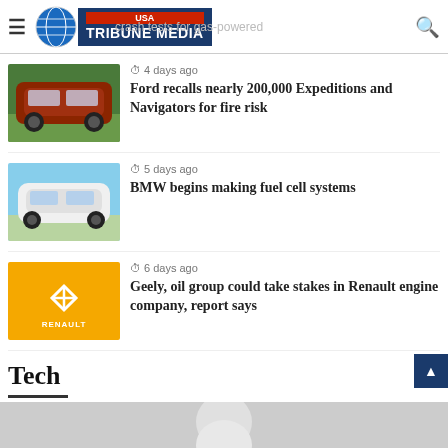USA Tribune Media
crash tests for gas-powered cars
4 days ago
Ford recalls nearly 200,000 Expeditions and Navigators for fire risk
[Figure (photo): Red Ford Expedition SUV parked outdoors]
5 days ago
BMW begins making fuel cell systems
[Figure (photo): White BMW X5 SUV on road with green background]
6 days ago
Geely, oil group could take stakes in Renault engine company, report says
[Figure (logo): Renault logo on yellow background]
Tech
[Figure (photo): Tech product image (earbuds or similar device in gray)]